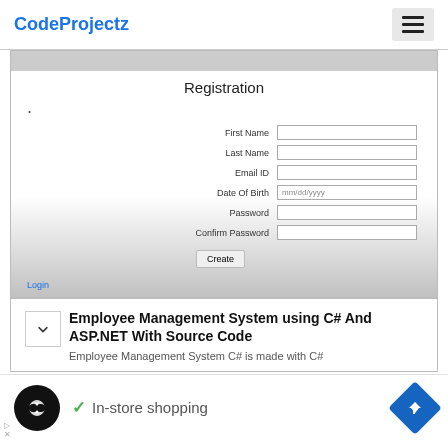CodeProjectz
[Figure (screenshot): Registration form with fields: First Name, Last Name, Email ID, Date Of Birth (mm/dd/yyyy), Password, Confirm Password, and a Create button, with a Login link at the bottom.]
Employee Management System using C# And ASP.NET With Source Code
Employee Management System C# is made with C#
[Figure (other): Advertisement bar showing a black circle logo with infinity symbol, a green checkmark with 'In-store shopping', and a blue diamond navigation icon.]